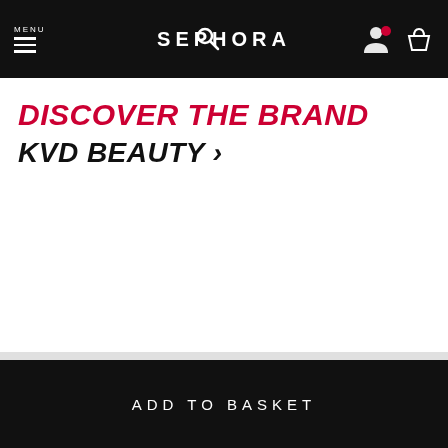MENU  SEPHORA
DISCOVER THE BRAND
KVD BEAUTY ›
ADD TO BASKET